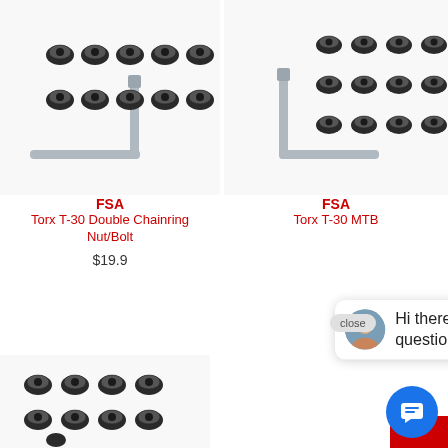[Figure (photo): FSA Torx T-30 Double Chainring Nut/Bolt set with L-wrench tool, dark metal components on white background]
[Figure (photo): FSA Torx T-30 MTB chainring bolt set with L-wrench tool, dark metal components on white background]
FSA
Torx T-30 Double Chainring Nut/Bolt
FSA
Torx T-30 MTB
$19.9
close
Hi there, have a question? Text us here.
[Figure (photo): Chainring bolt set, dark metal components on white background, bottom left]
[Figure (other): Blue circular chat/messaging FAB button with message icon]